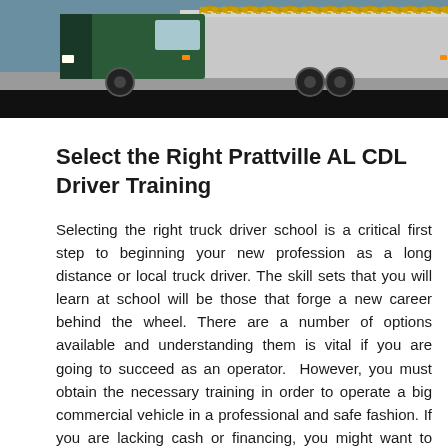[Figure (photo): Photograph of a large commercial truck/semi-truck with a trailer, viewed from the side on a road. The truck cab is dark green and the trailer is silver/gray with decorative orange/gold dots along the top edge. The bottom of the image has a dark black bar.]
Select the Right Prattville AL CDL Driver Training
Selecting the right truck driver school is a critical first step to beginning your new profession as a long distance or local truck driver. The skill sets that you will learn at school will be those that forge a new career behind the wheel. There are a number of options available and understanding them is vital if you are going to succeed as an operator.  However, you must obtain the necessary training in order to operate a big commercial vehicle in a professional and safe fashion. If you are lacking cash or financing, you might want to think about a captive school. You will pay a reduced or even no tuition by agreeing to drive for their contracted carrier. Or you can select an independent truck driving school and have the the